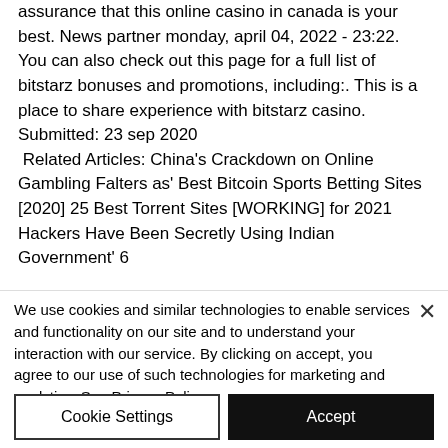assurance that this online casino in canada is your best. News partner monday, april 04, 2022 - 23:22. You can also check out this page for a full list of bitstarz bonuses and promotions, including:. This is a place to share experience with bitstarz casino. Submitted: 23 sep 2020
 Related Articles: China's Crackdown on Online Gambling Falters as' Best Bitcoin Sports Betting Sites [2020] 25 Best Torrent Sites [WORKING] for 2021 Hackers Have Been Secretly Using Indian Government' 6
We use cookies and similar technologies to enable services and functionality on our site and to understand your interaction with our service. By clicking on accept, you agree to our use of such technologies for marketing and analytics. See Privacy Policy
Cookie Settings
Accept